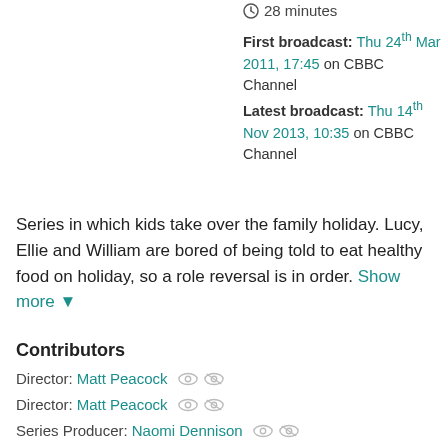28 minutes
First broadcast: Thu 24th Mar 2011, 17:45 on CBBC Channel
Latest broadcast: Thu 14th Nov 2013, 10:35 on CBBC Channel
Series in which kids take over the family holiday. Lucy, Ellie and William are bored of being told to eat healthy food on holiday, so a role reversal is in order. Show more
Contributors
Director: Matt Peacock
Director: Matt Peacock
Series Producer: Naomi Dennison
Series Producer: Naomi Dennison
Presenter: Joe Swash